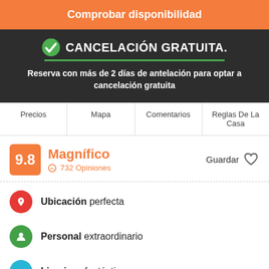Comprobar disponibilidad
CANCELACIÓN GRATUITA.
Reserva con más de 2 días de antelación para optar a cancelación gratuita
Precios | Mapa | Comentarios | Reglas De La Casa
9.8 Magnífico 732 Opiniones Guardar
Ubicación perfecta
Personal extraordinario
Limpieza fantástica
Coming to Moalboal? Come to Chief Mau! The leading social hostel and chillest place in town! We're conveniently located just a minute